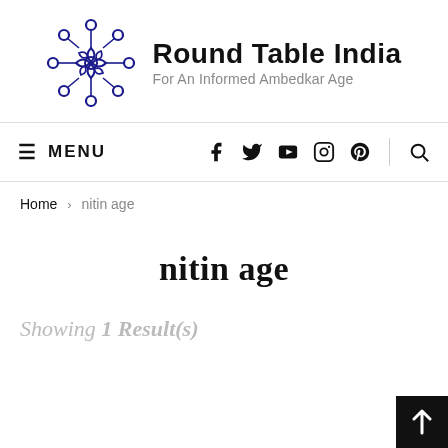[Figure (logo): Round Table India logo: circular network of connected nodes in dark navy blue, next to text 'Round Table India' with subtitle 'For An Informed Ambedkar Age']
≡ MENU  [social icons: Facebook, Twitter, YouTube, Instagram, Pinterest]  [Search]
Home > nitin age
nitin age
Showing 1 Result(s)